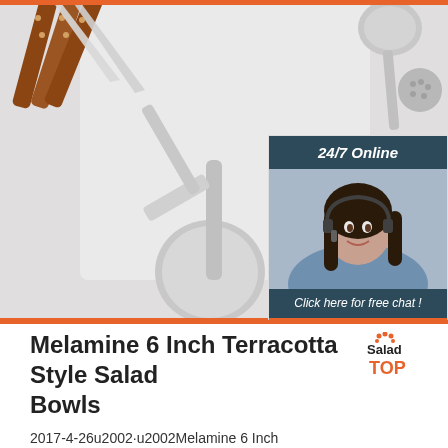[Figure (photo): Photo of stainless steel kitchen utensils including spatulas, fork, ladle, and knives with wooden handles on a white surface. Overlay widget showing '24/7 Online' chat service with a woman wearing a headset, and an orange 'QUOTATION' button.]
Melamine 6 Inch Terracotta Style Salad Bowls
2017-4-26u2002·u2002Melamine 6 Inch